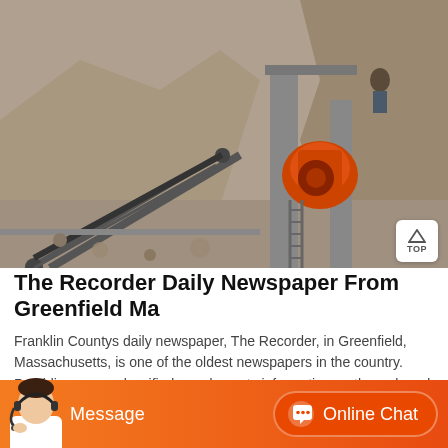[Figure (photo): Quarry or mining site with heavy orange crusher equipment mounted on a concrete pillar, conveyor belt machinery in the foreground, surrounded by large mounds of excavated rock and dirt]
The Recorder Daily Newspaper From Greenfield Ma
Franklin Countys daily newspaper, The Recorder, in Greenfield, Massachusetts, is one of the oldest newspapers in the country. Providing news, classifieds, and events information on the web and
[Figure (illustration): Orange chat bar at the bottom with a customer service agent photo on the left, a Message button in the center-left, and an Online Chat button with chat bubble icon on the right]